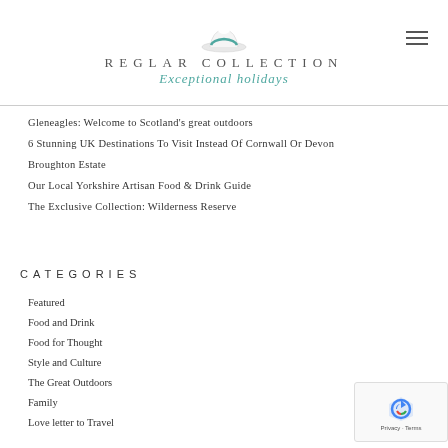REGLAR COLLECTION - Exceptional holidays
Gleneagles: Welcome to Scotland's great outdoors
6 Stunning UK Destinations To Visit Instead Of Cornwall Or Devon
Broughton Estate
Our Local Yorkshire Artisan Food & Drink Guide
The Exclusive Collection: Wilderness Reserve
CATEGORIES
Featured
Food and Drink
Food for Thought
Style and Culture
The Great Outdoors
Family
Love letter to Travel